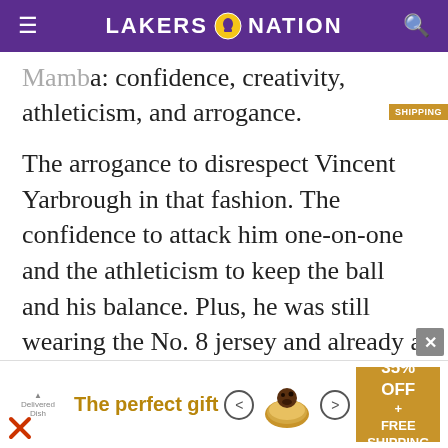LAKERS NATION
Mamba: confidence, creativity, athleticism, and arrogance.
The arrogance to disrespect Vincent Yarbrough in that fashion. The confidence to attack him one-on-one and the athleticism to keep the ball and his balance. Plus, he was still wearing the No. 8 jersey and already a three-time champion. I feel that this one possession encapsulated almost everything Kobe was about. The only thing missing was a clutch shot.
[Figure (screenshot): Advertisement banner: 'The perfect gift' with food product images, navigation arrows, and '35% OFF + FREE SHIPPING' promotional badge]